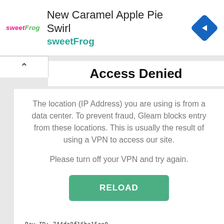[Figure (screenshot): Ad banner for sweetFrog featuring 'New Caramel Apple Pie Swirl' with sweetFrog logo on left and a blue diamond navigation icon on right]
Access Denied
The location (IP Address) you are using is from a data center. To prevent fraud, Gleam blocks entry from these locations. This is usually the result of using a VPN to access our site.
Please turn off your VPN and try again.
RELOAD
Ray ID: 744da8f16bc15ae0
Timestamp: 2022-09-03 10:04:12 UTC
Your IP address: 54.147.100.98